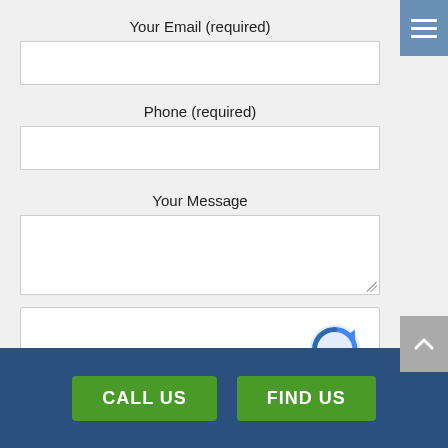[Figure (screenshot): Menu hamburger icon button in blue-gray color in the top-right corner]
Your Email (required)
[Figure (other): Empty text input field for email]
Phone (required)
[Figure (other): Empty text input field for phone]
Your Message
[Figure (other): Empty textarea input for message with resize handle]
[Figure (other): reCAPTCHA widget with checkbox 'I'm not a robot']
[Figure (other): Gray scroll-up arrow button on right side]
[Figure (other): Footer bar with CALL US and FIND US green buttons on dark blue background]